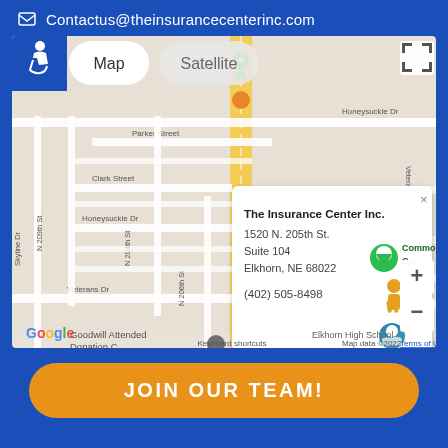Contactus@theinsurancecenterinc.com
[Figure (map): Google Maps screenshot showing The Insurance Center Inc. location at 1520 N. 205th St., Suite 104, Elkhorn, NE 68022 with info popup and map/satellite toggle buttons visible. Shows surrounding streets including Parker Street, Clark Street, Honeysuckle Dr, Skyline Dr, N 209th St, N 204th St, N 206th St, Veterans Dr. Nearby places include Casey's, Goodwill Attended Donation Center, Elkhorn High School, A Venue on the Ri, Community Center. Map data ©2022.]
JOIN OUR TEAM!